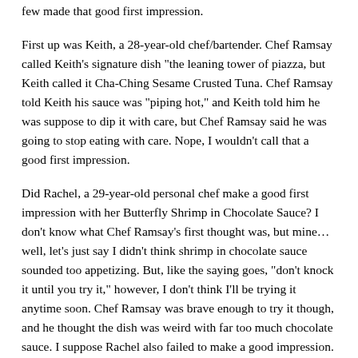few made that good first impression.
First up was Keith, a 28-year-old chef/bartender. Chef Ramsay called Keith's signature dish "the leaning tower of piazza, but Keith called it Cha-Ching Sesame Crusted Tuna. Chef Ramsay told Keith his sauce was "piping hot," and Keith told him he was suppose to dip it with care, but Chef Ramsay said he was going to stop eating with care. Nope, I wouldn't call that a good first impression.
Did Rachel, a 29-year-old personal chef make a good first impression with her Butterfly Shrimp in Chocolate Sauce? I don't know what Chef Ramsay's first thought was, but mine…well, let's just say I didn't think shrimp in chocolate sauce sounded too appetizing. But, like the saying goes, "don't knock it until you try it," however, I don't think I'll be trying it anytime soon. Chef Ramsay was brave enough to try it though, and he thought the dish was weird with far too much chocolate sauce. I suppose Rachel also failed to make a good impression.
Polly, a 43-year-old caterer tried for her first impression with an